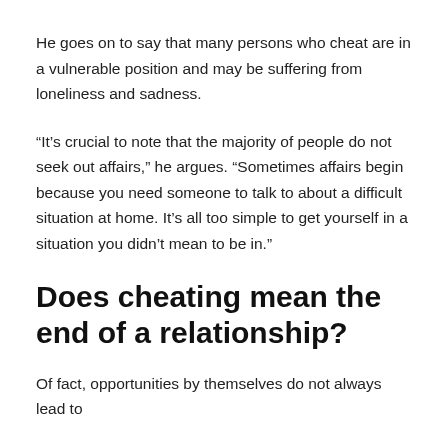He goes on to say that many persons who cheat are in a vulnerable position and may be suffering from loneliness and sadness.
“It’s crucial to note that the majority of people do not seek out affairs,” he argues. “Sometimes affairs begin because you need someone to talk to about a difficult situation at home. It’s all too simple to get yourself in a situation you didn’t mean to be in.”
Does cheating mean the end of a relationship?
Of fact, opportunities by themselves do not always lead to